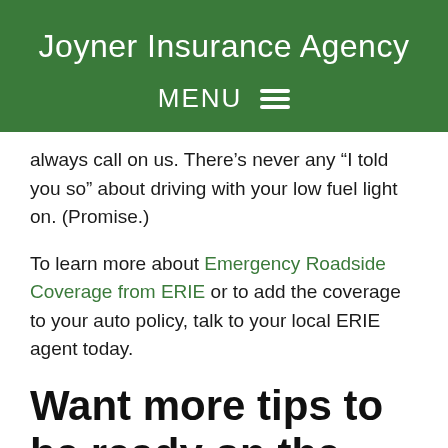Joyner Insurance Agency
MENU
always call on us. There’s never any “I told you so” about driving with your low fuel light on. (Promise.)
To learn more about Emergency Roadside Coverage from ERIE or to add the coverage to your auto policy, talk to your local ERIE agent today.
Want more tips to be ready on the road?